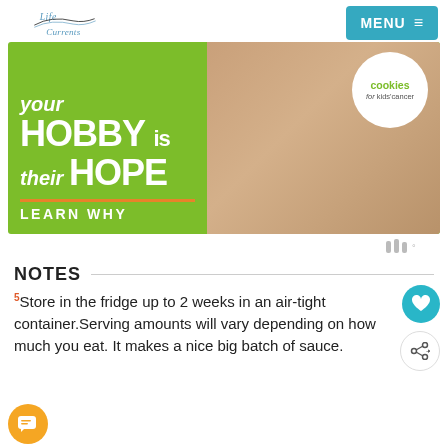Life Currents | MENU
[Figure (photo): Cookies for Kids' Cancer advertisement banner: green background with text 'your HOBBY is their HOPE — LEARN WHY', cookies/hands photo on right, Cookies for Kids' Cancer logo in white circle]
Wordmark / analytics symbol
NOTES
5Store in the fridge up to 2 weeks in an air-tight container.Serving amounts will vary depending on how much you eat. It makes a nice big batch of sauce.